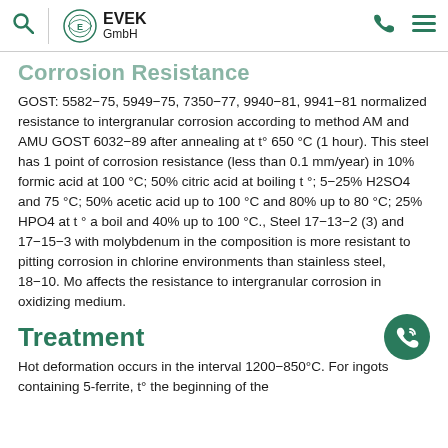EVEK GmbH
Corrosion Resistance
GOST: 5582−75, 5949−75, 7350−77, 9940−81, 9941−81 normalized resistance to intergranular corrosion according to method AM and AMU GOST 6032−89 after annealing at t° 650 °C (1 hour). This steel has 1 point of corrosion resistance (less than 0.1 mm/year) in 10% formic acid at 100 °C; 50% citric acid at boiling t °; 5−25% H2SO4 and 75 °C; 50% acetic acid up to 100 °C and 80% up to 80 °C; 25% HPO4 at t ° a boil and 40% up to 100 °C., Steel 17−13−2 (3) and 17−15−3 with molybdenum in the composition is more resistant to pitting corrosion in chlorine environments than stainless steel, 18−10. Mo affects the resistance to intergranular corrosion in oxidizing medium.
Treatment
Hot deformation occurs in the interval 1200−850°C. For ingots containing 5-ferrite, t° the beginning of the